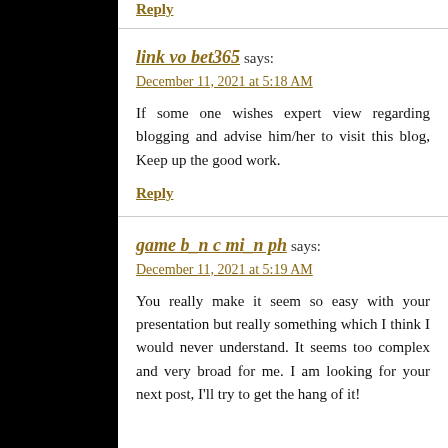Reply
link vo bet365 says:
December 11, 2021 at 5:18 AM
If some one wishes expert view regarding blogging and advise him/her to visit this blog, Keep up the good work.
Reply
game b_n c mi_n ph says:
December 11, 2021 at 5:19 AM
You really make it seem so easy with your presentation but really something which I think I would never understand. It seems too complex and very broad for me. I am looking for your next post, I'll try to get the hang of it!